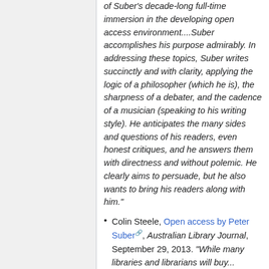of Suber's decade-long full-time immersion in the developing open access environment....Suber accomplishes his purpose admirably. In addressing these topics, Suber writes succinctly and with clarity, applying the logic of a philosopher (which he is), the sharpness of a debater, and the cadence of a musician (speaking to his writing style). He anticipates the many sides and questions of his readers, even honest critiques, and he answers them with directness and without polemic. He clearly aims to persuade, but he also wants to bring his readers along with him."
Colin Steele, Open access by Peter Suber, Australian Library Journal, September 29, 2013. "While many libraries and librarians will buy...